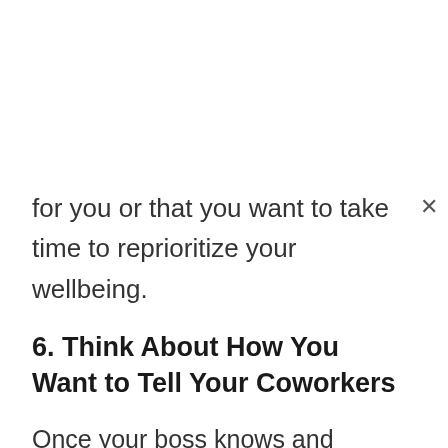for you or that you want to take time to reprioritize your wellbeing.
6. Think About How You Want to Tell Your Coworkers
Once your boss knows and you’ve turned in your resignation letter, you have to tell your coworkers. As mentioned before, it’s best to ask your boss if they want to approach it in a specific way.